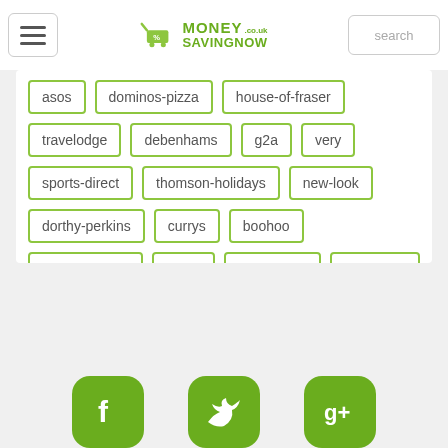[Figure (logo): MoneySavingNow logo with shopping cart icon and green text]
asos
dominos-pizza
house-of-fraser
travelodge
debenhams
g2a
very
sports-direct
thomson-holidays
new-look
dorthy-perkins
currys
boohoo
amazon.co.uk
argos
river-island
john-lewis
[Figure (illustration): Social media icons (Facebook, Twitter, Google+) in green rounded square buttons]